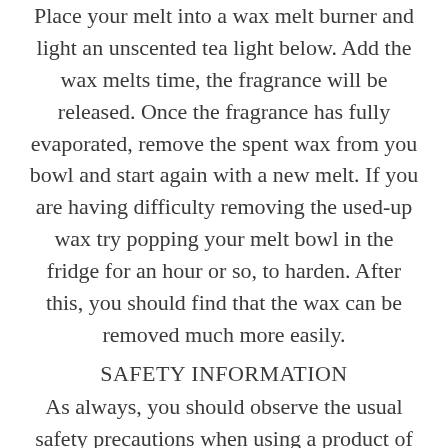Place your melt into a wax melt burner and light an unscented tea light below. Add the wax melts time, the fragrance will be released. Once the fragrance has fully evaporated, remove the spent wax from you bowl and start again with a new melt. If you are having difficulty removing the used-up wax try popping your melt bowl in the fridge for an hour or so, to harden. After this, you should find that the wax can be removed much more easily.
SAFETY INFORMATION
As always, you should observe the usual safety precautions when using a product of this type:
To prevent fire and serious injury,